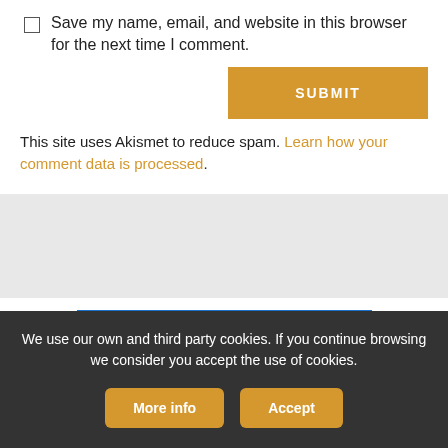Save my name, email, and website in this browser for the next time I comment.
SUBMIT
This site uses Akismet to reduce spam. Learn how your comment data is processed.
[Figure (logo): Microsoft MVP Most Valuable Professional badge with blue background and white diamond shapes]
We use our own and third party cookies. If you continue browsing we consider you accept the use of cookies.
More info
Accept